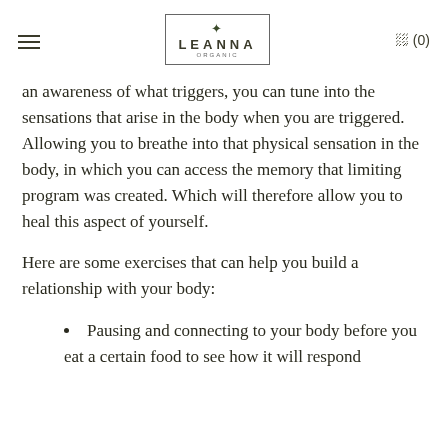LEANNA ORGANICS — (0)
an awareness of what triggers, you can tune into the sensations that arise in the body when you are triggered. Allowing you to breathe into that physical sensation in the body, in which you can access the memory that limiting program was created. Which will therefore allow you to heal this aspect of yourself.
Here are some exercises that can help you build a relationship with your body:
Pausing and connecting to your body before you eat a certain food to see how it will respond